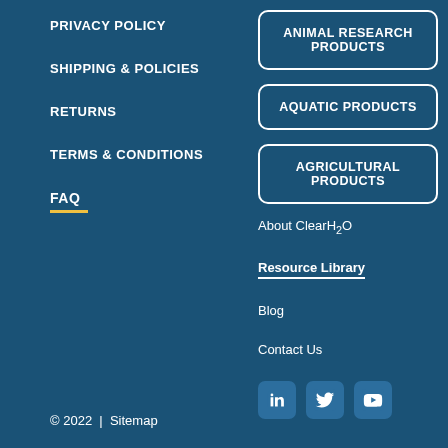PRIVACY POLICY
SHIPPING & POLICIES
RETURNS
TERMS & CONDITIONS
FAQ
ANIMAL RESEARCH PRODUCTS
AQUATIC PRODUCTS
AGRICULTURAL PRODUCTS
About ClearH₂O
Resource Library
Blog
Contact Us
[Figure (infographic): Social media icons: LinkedIn, Twitter, YouTube]
© 2022  |  Sitemap